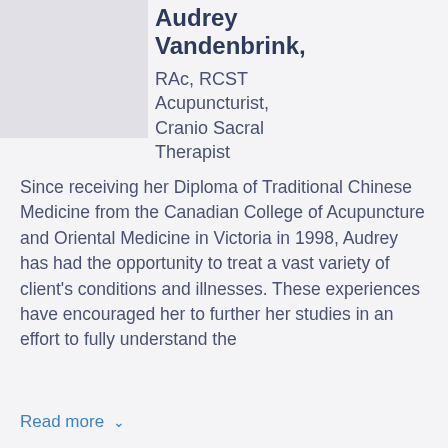[Figure (photo): Profile photo placeholder for Audrey Vandenbrink]
Audrey Vandenbrink,
RAc, RCST Acupuncturist, Cranio Sacral Therapist
Since receiving her Diploma of Traditional Chinese Medicine from the Canadian College of Acupuncture and Oriental Medicine in Victoria in 1998, Audrey has had the opportunity to treat a vast variety of client's conditions and illnesses. These experiences have encouraged her to further her studies in an effort to fully understand the
Read more